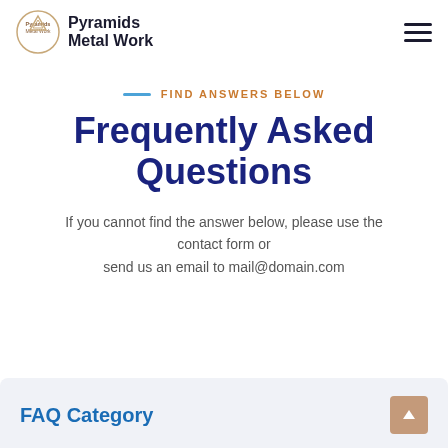Pyramids Metal Work
FIND ANSWERS BELOW
Frequently Asked Questions
If you cannot find the answer below, please use the contact form or send us an email to mail@domain.com
FAQ Category